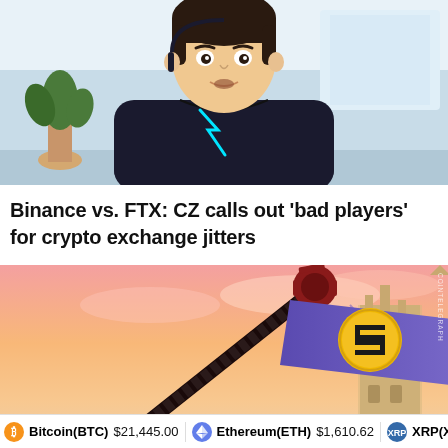[Figure (illustration): Digital illustration of a young Asian man in a dark hoodie with teal/cyan lightning bolt design, set in an office background with a plant, styled as comic/anime art]
Binance vs. FTX: CZ calls out ‘bad players’ for crypto exchange jitters
[Figure (illustration): Digital illustration of a Binance logo flag (golden CZ coin symbol on blue/purple flag) on a flagpole against a pink/orange sunset sky with a Gothic cathedral tower in the background, Cointelegraph watermark visible]
Bitcoin(BTC) $21,445.00   Ethereum(ETH) $1,610.62   XRP(XR...